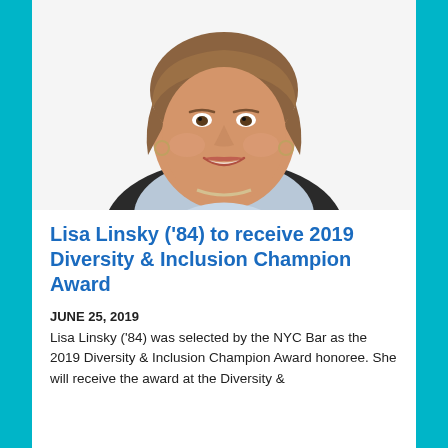[Figure (photo): Professional headshot of Lisa Linsky, a woman with short brown hair, smiling, wearing a light blue top and pearl necklace, against a white background.]
Lisa Linsky ('84) to receive 2019 Diversity & Inclusion Champion Award
JUNE 25, 2019
Lisa Linsky ('84) was selected by the NYC Bar as the 2019 Diversity & Inclusion Champion Award honoree. She will receive the award at the Diversity &